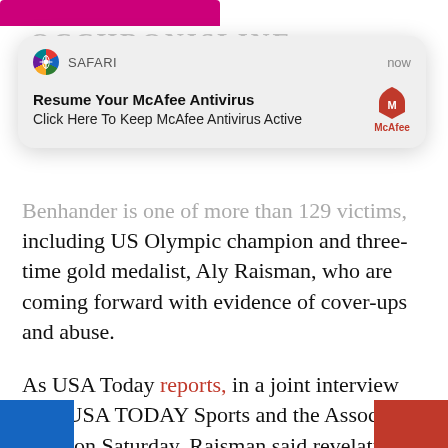[Figure (screenshot): Safari browser push notification popup reading 'Resume Your McAfee Antivirus' / 'Click Here To Keep McAfee Antivirus Active' with McAfee logo, timestamped 'now']
Benhander is one of more than 129 victims, including US Olympic champion and three-time gold medalist, Aly Raisman, who are coming forward with evidence of cover-ups and abuse.
As USA Today reports, in a joint interview with USA TODAY Sports and the Associated Press on Saturday, Raisman said revelations of widespread abuse by longtime team physician Larry Nassar and the reaction by the [obscured by popup] ws her sp[obscured]
[Figure (screenshot): Ad popup with photo of elderly man (Willie Nelson) and text 'A Tragic End Today For Willie Nelson' / 'Breaking News' with close button X]